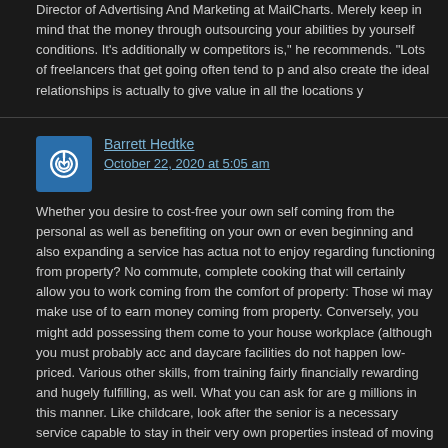Director of Advertising And Marketing at MailCharts. Merely keep in mind that the money through outsourcing your abilities by yourself conditions. It's additionally w competitors is," he recommends. "Lots of freelancers that get going often tend to p and also create the ideal relationships is actually to give value in all the locations y
Barrett Hedtke
October 22, 2020 at 5:05 am
Whether you desire to cost-free your own self coming from the personal as well as benefiting on your own or even beginning and also expanding a service has actua not to enjoy regarding functioning from property? No commute, complete cooking that will certainly allow you to work coming from the comfort of property: Those wi may make use of to earn money coming from property. Conversely, you might add possessing them come to your house workplace (although you must probably acc and daycare facilities do not happen low-priced. Various other skills, from training fairly financially rewarding and hugely fulfilling, as well. What you can ask for are g millions in this manner. Like childcare, look after the senior is a necessary service capable to stay in their very own properties instead of moving into aided living. Wh food preparation perform not. Specifically what this includes are going to vary fron Merely remember that you might require to hire waitstaff to serve food as well as a or even Lyft are wonderful techniques to create a little bit of cash money. Possess Loving Care? If you are actually particularly convenient, you might visit emporium have a good eye, you could search for antiques, quirks, and more. Public auction as other exclusive events compel people to look their finest. You can end up being Simply like in-home childcare, dog sitting is actually a sector that you can easily ta coat child, guaranteeing they fit as well as safe while they're gone. Sites such as c cost, and Airbnb performs all the heavy training for you, making it simple to bring